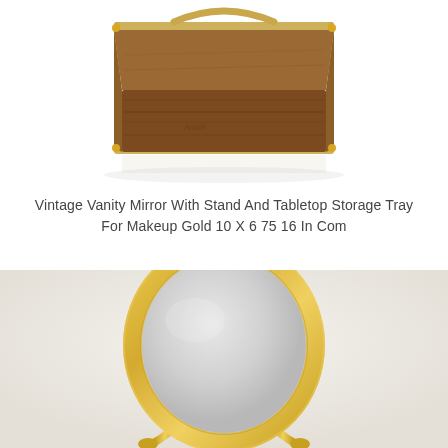[Figure (photo): A wooden storage tray with gold metal frame/handle, photographed from above on a white background. The tray appears to be a dark walnut wood color with a gold wire frame structure.]
Vintage Vanity Mirror With Stand And Tabletop Storage Tray For Makeup Gold 10 X 6 75 16 In Com
[Figure (photo): A gold-framed oval/circular tabletop vanity mirror with a stand, photographed against a light grey/white background. The mirror has a shiny gold metal frame and a pivoting stand with gold ball-tipped feet.]